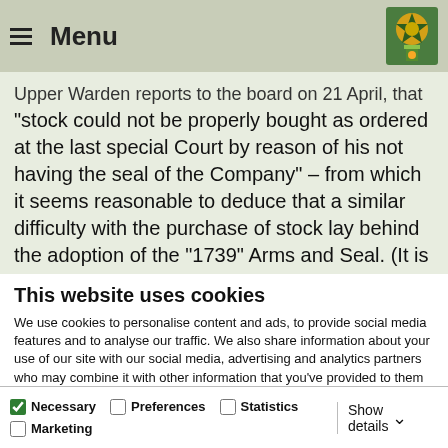Menu
Upper Warden reports to the board on 21 April, that "stock could not be properly bought as ordered at the last special Court by reason of his not having the seal of the Company" – from which it seems reasonable to deduce that a similar difficulty with the purchase of stock lay behind the adoption of the "1739" Arms and Seal. (It is a pity that so much
This website uses cookies
We use cookies to personalise content and ads, to provide social media features and to analyse our traffic. We also share information about your use of our site with our social media, advertising and analytics partners who may combine it with other information that you've provided to them or that they've collected from your use of their services.
Allow all cookies
Allow selection
Use necessary cookies only
Necessary   Preferences   Statistics   Marketing   Show details